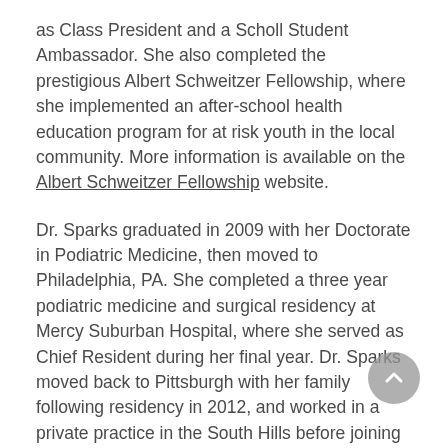as Class President and a Scholl Student Ambassador. She also completed the prestigious Albert Schweitzer Fellowship, where she implemented an after-school health education program for at risk youth in the local community. More information is available on the Albert Schweitzer Fellowship website.
Dr. Sparks graduated in 2009 with her Doctorate in Podiatric Medicine, then moved to Philadelphia, PA. She completed a three year podiatric medicine and surgical residency at Mercy Suburban Hospital, where she served as Chief Resident during her final year. Dr. Sparks moved back to Pittsburgh with her family following residency in 2012, and worked in a private practice in the South Hills before joining Ankle and Foot Care in 2016. Dr. Sparks is board certified by the American Board of Foot and Ankle Surgery and the American Board of Podiatric Medicine. She is a Fellow of the American College of Foot and Ankle Surgeons, and a Diplomate of the American Board of Podiatric Medicine.